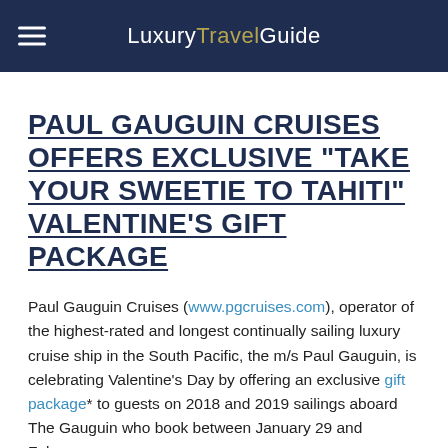LuxuryTravelGuide
PAUL GAUGUIN CRUISES OFFERS EXCLUSIVE "TAKE YOUR SWEETIE TO TAHITI" VALENTINE'S GIFT PACKAGE
Paul Gauguin Cruises (www.pgcruises.com), operator of the highest-rated and longest continually sailing luxury cruise ship in the South Pacific, the m/s Paul Gauguin, is celebrating Valentine's Day by offering an exclusive gift package* to guests on 2018 and 2019 sailings aboard The Gauguin who book between January 29 and February